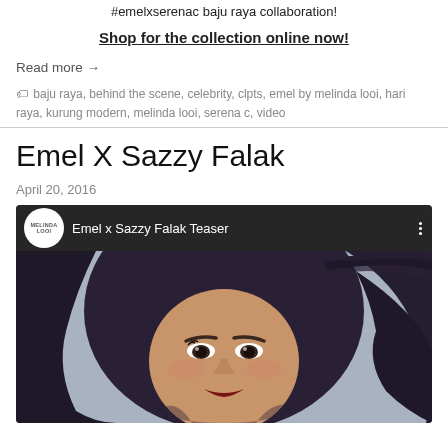#emelxserenac baju raya collaboration!
Shop for the collection online now!
Read more →
🏷 baju raya, behind the scene, celebrity, clpts, emel by melinda looi, hari raya, kurung modern, melinda looi, serena c, video
Emel X Sazzy Falak
April 20, 2016
[Figure (screenshot): YouTube video thumbnail showing 'Emel x Sazzy Falak Teaser' with Melinda Looi channel logo and a woman with dark flowing hair]